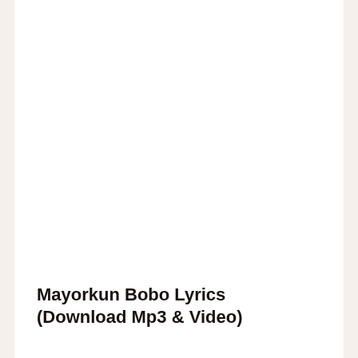Mayorkun Bobo Lyrics (Download Mp3 & Video)